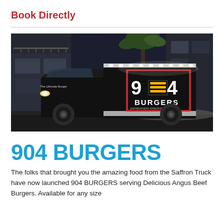Book Directly
[Figure (photo): A black food truck branded '904 BURGERS' parked at night in front of a building with palm trees. The truck has bright LED lights and the logo showing '904 BURGERS' on a red and black panel on the side.]
904 BURGERS
The folks that brought you the amazing food from the Saffron Truck have now launched 904 BURGERS serving Delicious Angus Beef Burgers. Available for any size